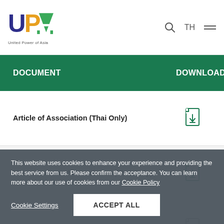United Power of Asia — UPA logo header with search, TH language, and menu icons
| DOCUMENT | DOWNLOAD |
| --- | --- |
| Article of Association (Thai Only) | download icon |
| Memorandum of Association (Thai Only) | download icon |
| Certificate of Incorporation (Thai Only) | download icon |
This website uses cookies to enhance your experience and providing the best service from us. Please confirm the acceptance. You can learn more about our use of cookies from our Cookie Policy
Cookie Settings | ACCEPT ALL